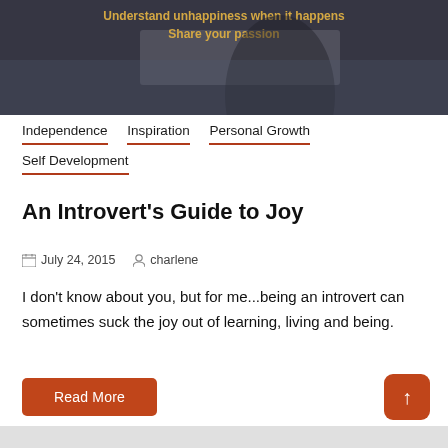[Figure (photo): Dark hero image of a person outdoors with yellow text overlay reading 'Understand unhappiness when it happens' and 'Share your passion']
Independence  Inspiration  Personal Growth  Self Development
An Introvert's Guide to Joy
July 24, 2015  charlene
I don't know about you, but for me...being an introvert can sometimes suck the joy out of learning, living and being.
Read More